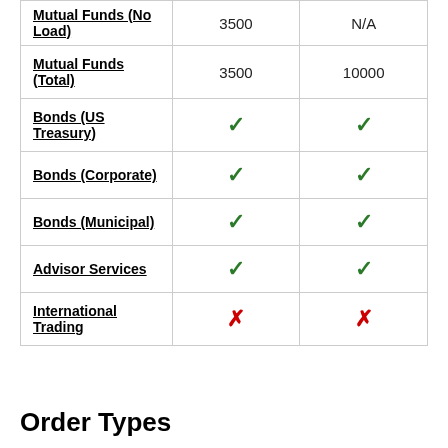|  |  |  |
| --- | --- | --- |
| Mutual Funds (No Load) | 3500 | N/A |
| Mutual Funds (Total) | 3500 | 10000 |
| Bonds (US Treasury) | ✓ | ✓ |
| Bonds (Corporate) | ✓ | ✓ |
| Bonds (Municipal) | ✓ | ✓ |
| Advisor Services | ✓ | ✓ |
| International Trading | ✗ | ✗ |
Order Types